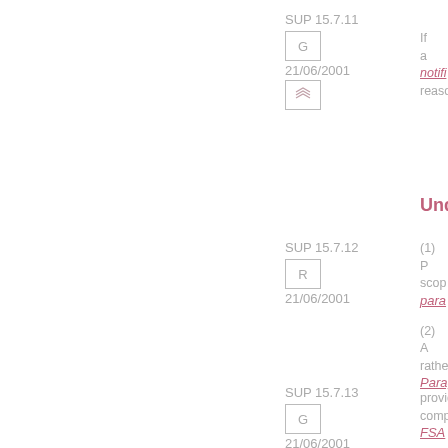SUP 15.7.11
G
21/06/2001
If a notifi... reasona...
Under
SUP 15.7.12
R
21/06/2001
(1) P... scop... para... (2) A... rathe...
SUP 15.7.13
G
21/06/2001
Paragra... provide... compet... FSA